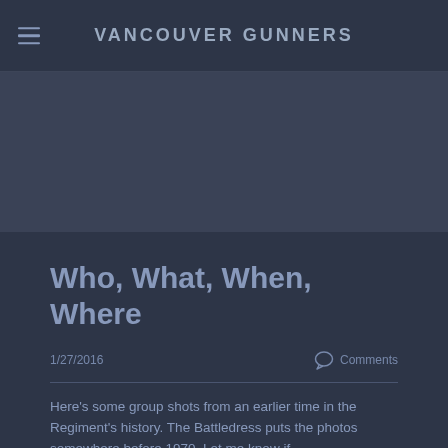VANCOUVER GUNNERS
[Figure (other): Dark blue-grey banner/image placeholder area]
Who, What, When, Where
1/27/2016
Comments
Here's some group shots from an earlier time in the Regiment's history. The Battledress puts the photos somewhere before 1970. Let me know if